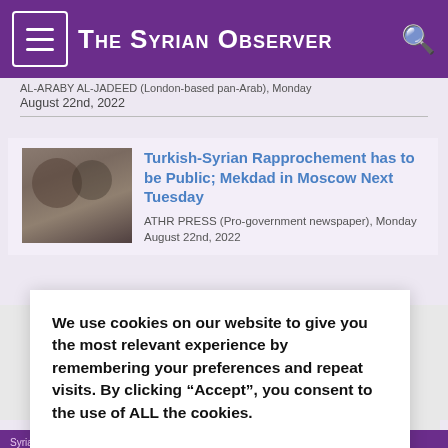The Syrian Observer
AL-ARABY AL-JADEED (London-based pan-Arab), Monday August 22nd, 2022
Turkish-Syrian Rapprochement has to be Public; Mekdad in Moscow Next Tuesday
ATHR PRESS (Pro-government newspaper), Monday August 22nd, 2022
We use cookies on our website to give you the most relevant experience by remembering your preferences and repeat visits. By clicking “Accept”, you consent to the use of ALL the cookies. Do not sell my personal information.
ce covering Syrian
sh news contents oups,activists and
publishes original o aims at building ain actors of the
Syrian political and... subscribe to our newsletter.